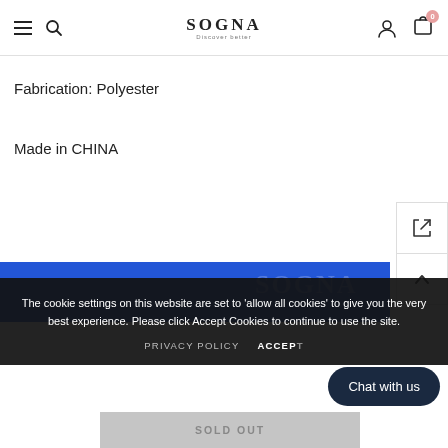SOGNA · Discover better — navigation header with hamburger, search, user, cart icons
Fabrication: Polyester
Made in CHINA
[Figure (screenshot): Blue product banner with SOGNA watermark and sidebar icon buttons (share/expand and up-arrow)]
The cookie settings on this website are set to 'allow all cookies' to give you the very best experience. Please click Accept Cookies to continue to use the site.
PRIVACY POLICY   ACCEPT
Chat with us
SOLD OUT